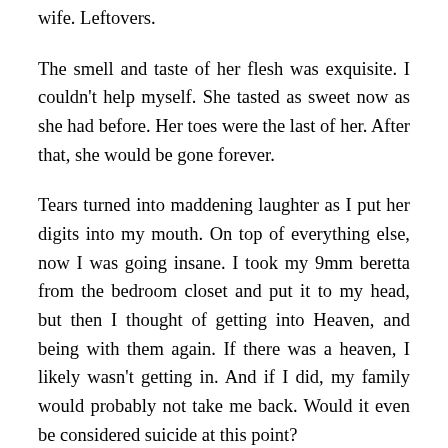wife. Leftovers.
The smell and taste of her flesh was exquisite. I couldn't help myself. She tasted as sweet now as she had before. Her toes were the last of her. After that, she would be gone forever.
Tears turned into maddening laughter as I put her digits into my mouth. On top of everything else, now I was going insane. I took my 9mm beretta from the bedroom closet and put it to my head, but then I thought of getting into Heaven, and being with them again. If there was a heaven, I likely wasn't getting in. And if I did, my family would probably not take me back. Would it even be considered suicide at this point?
I wasn't a gun person, It was a gift from a buddy of